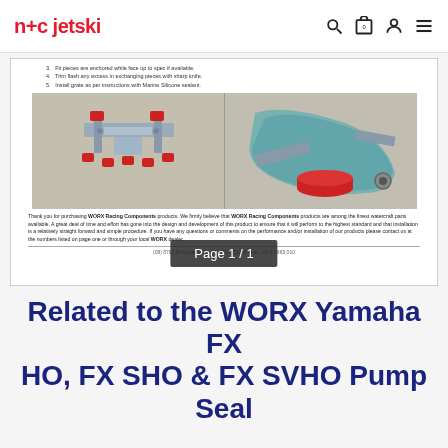n+c jetski
[Figure (screenshot): Screenshot of a product instruction document page showing numbered installation steps (3-5), two photos of a metal pump seal bracket with red clamps, thank you text referencing WORX Racing Components products, a footer with contact info, and a 'Page 1 / 1' overlay indicator.]
Related to the WORX Yamaha FX HO, FX SHO & FX SVHO Pump Seal